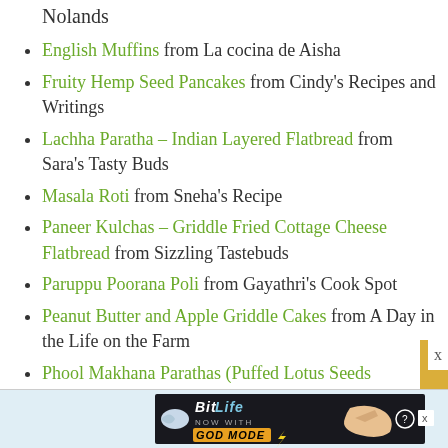Nolands
English Muffins from La cocina de Aisha
Fruity Hemp Seed Pancakes from Cindy's Recipes and Writings
Lachha Paratha – Indian Layered Flatbread from Sara's Tasty Buds
Masala Roti from Sneha's Recipe
Paneer Kulchas – Griddle Fried Cottage Cheese Flatbread from Sizzling Tastebuds
Paruppu Poorana Poli from Gayathri's Cook Spot
Peanut Butter and Apple Griddle Cakes from A Day in the Life on the Farm
Phool Makhana Parathas (Puffed Lotus Seeds
[Figure (screenshot): BitLife advertisement banner at the bottom: 'BitLife NOW WITH GOD MODE' with a pointing hand graphic]